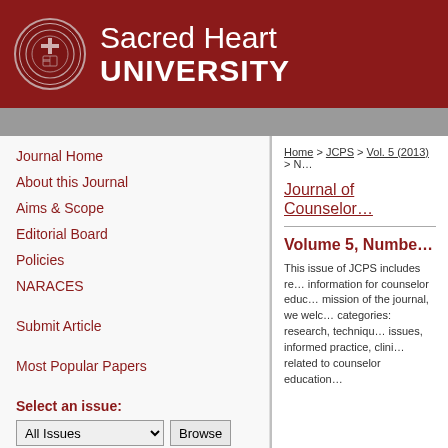Sacred Heart UNIVERSITY
Journal Home
About this Journal
Aims & Scope
Editorial Board
Policies
NARACES
Submit Article
Most Popular Papers
Select an issue:
Home > JCPS > Vol. 5 (2013) > N…
Journal of Counselor…
Volume 5, Number…
This issue of JCPS includes re… information for counselor educ… mission of the journal, we welc… categories: research, techniqu… issues, informed practice, clini… related to counselor education…